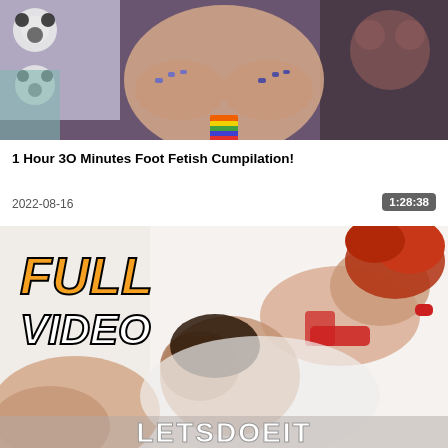[Figure (photo): Video thumbnail showing a person on a bed with panda-themed bedding and stuffed animals]
1 Hour 3O Minutes Foot Fetish Cumpilation!
2022-08-16
1:28:38
[Figure (photo): Video thumbnail with FULL VIDEO text overlay in orange and white, showing adult content scene with LETSDOEIT branding at bottom]